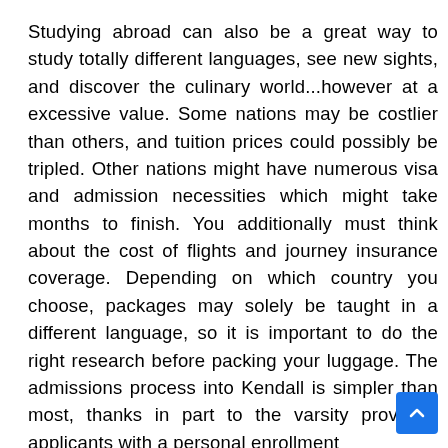Studying abroad can also be a great way to study totally different languages, see new sights, and discover the culinary world...however at a excessive value. Some nations may be costlier than others, and tuition prices could possibly be tripled. Other nations might have numerous visa and admission necessities which might take months to finish. You additionally must think about the cost of flights and journey insurance coverage. Depending on which country you choose, packages may solely be taught in a different language, so it is important to do the right research before packing your luggage. The admissions process into Kendall is simpler than most, thanks in part to the varsity providing applicants with a personal enrollment